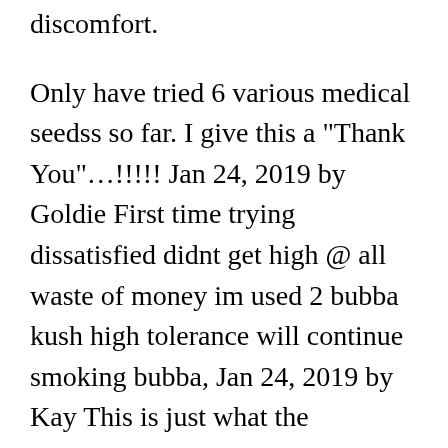discomfort.
Only have tried 6 various medical seedss so far. I give this a "Thank You"…!!!!! Jan 24, 2019 by Goldie First time trying dissatisfied didnt get high @ all waste of money im used 2 bubba kush high tolerance will continue smoking bubba, Jan 24, 2019 by Kay This is just what the physician ordered! Mellow mood and deep thought inspiring seeds.
When it comes to the medical results, I can say that the assistant at the dispensary was ideal: it does an excellent job at battling symptoms of psychological health conditions and more, also reducing